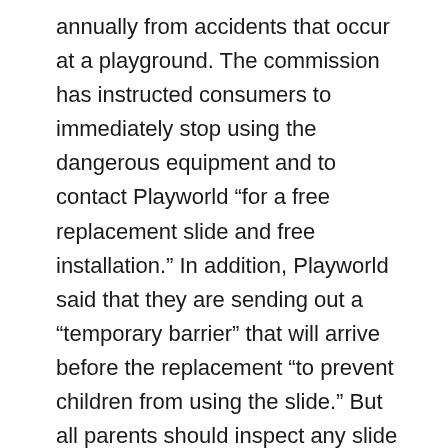annually from accidents that occur at a playground. The commission has instructed consumers to immediately stop using the dangerous equipment and to contact Playworld “for a free replacement slide and free installation.” In addition, Playworld said that they are sending out a “temporary barrier” that will arrive before the replacement “to prevent children from using the slide.” But all parents should inspect any slide or playground equipment to make sure it is safe before letting their children play.
Contact Playworld at (800) 233-8404 or email them at info@playworld.com